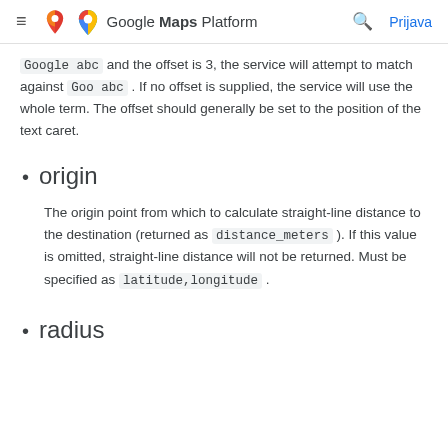≡  Google Maps Platform  🔍  Prijava
Google abc and the offset is 3, the service will attempt to match against Goo abc . If no offset is supplied, the service will use the whole term. The offset should generally be set to the position of the text caret.
origin
The origin point from which to calculate straight-line distance to the destination (returned as distance_meters ). If this value is omitted, straight-line distance will not be returned. Must be specified as latitude,longitude .
radius